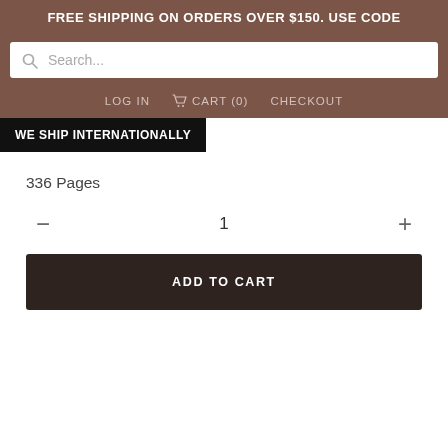FREE SHIPPING ON ORDERS OVER $150. USE CODE
Search...
LOG IN   CART (0)   CHECKOUT
WE SHIP INTERNATIONALLY
336 Pages
—  1  +
ADD TO CART